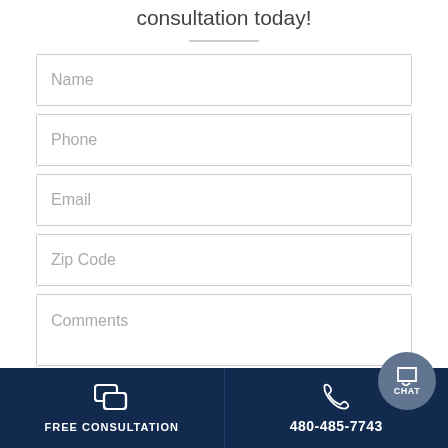consultation today!
[Figure (other): Horizontal divider line]
Name
Phone
Email
Zip Code
Comments
FREE CONSULTATION | 480-485-7743 | CHAT